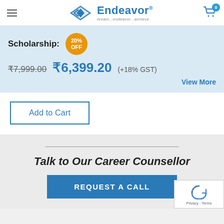[Figure (logo): Endeavor logo with diamond chevron icon and tagline dream...endeavor...achieve]
Scholarship: 20% OFF
₹7,999.00  ₹6,399.20  (+18% GST)
View More
Add to Cart
Talk to Our Career Counsellor
REQUEST A CALL